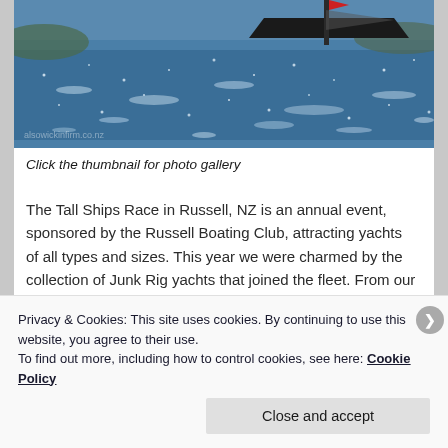[Figure (photo): Sailboat on sparkling blue water, likely in a bay. A dark-hulled yacht with masts and a flag visible, with hills in the background. Watermark text faintly visible at bottom left of image.]
Click the thumbnail for photo gallery
The Tall Ships Race in Russell, NZ is an annual event, sponsored by the Russell Boating Club, attracting yachts of all types and sizes. This year we were charmed by the collection of Junk Rig yachts that joined the fleet. From our anchorage in Matauwhi Bay, we photographed Junks
Privacy & Cookies: This site uses cookies. By continuing to use this website, you agree to their use.
To find out more, including how to control cookies, see here: Cookie Policy